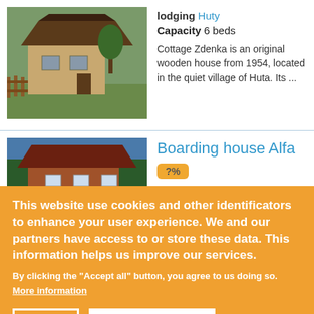[Figure (photo): Wooden cottage house photo with fence and trees in background]
lodging Huty
Capacity 6 beds
Cottage Zdenka is an original wooden house from 1954, located in the quiet village of Huta. Its ...
[Figure (photo): Boarding house building photo with trees in background]
Boarding house Alfa
?%
This website use cookies and other identificators to enhance your user experience. We and our partners have access to or store these data. This information helps us improve our services.
By clicking the "Accept all" button, you agree to us doing so.
More information
EDIT
ACCEPT ALL